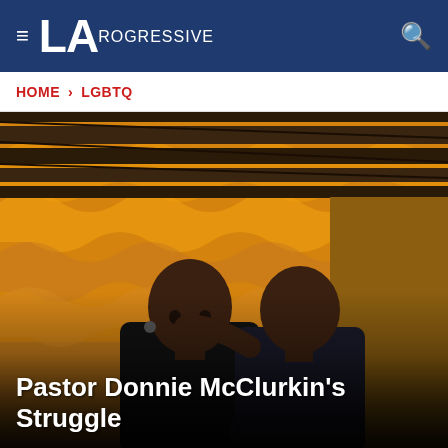≡ LAprogressive [search icon]
HOME > LGBTQ
[Figure (photo): Two Black men standing close together facing each other in an intimate pose, both bald, one with his arm around the other's neck. Background shows orange and yellow patterned wall with dark slatted ceiling above. Both wearing dark clothing.]
Pastor Donnie McClurkin's Struggle